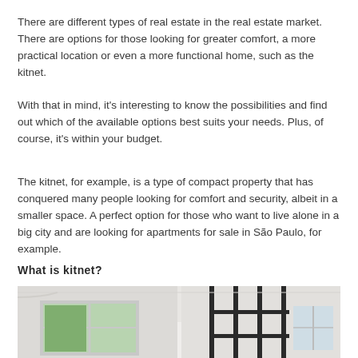There are different types of real estate in the real estate market. There are options for those looking for greater comfort, a more practical location or even a more functional home, such as the kitnet.
With that in mind, it's interesting to know the possibilities and find out which of the available options best suits your needs. Plus, of course, it's within your budget.
The kitnet, for example, is a type of compact property that has conquered many people looking for comfort and security, albeit in a smaller space. A perfect option for those who want to live alone in a big city and are looking for apartments for sale in São Paulo, for example.
What is kitnet?
[Figure (photo): Interior photo of a compact kitnet apartment showing white walls, a window with natural light and trees visible outside, and a black-framed glass partition/door dividing the space.]